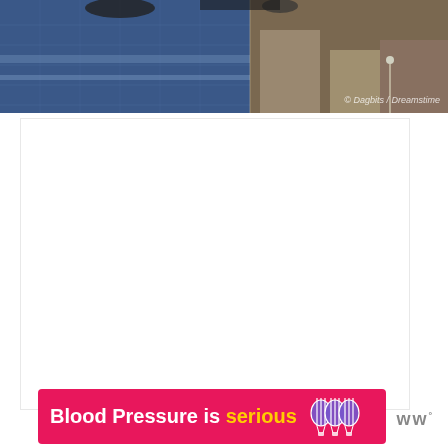[Figure (photo): Aerial or ground-level photo of an outdoor area with reflective blue tiled/marble floor on the left and sandy/earthy ground on the right. Some mechanical or aircraft equipment visible at the top. Watermark reads '© Dagbits / Dreamstime'.]
[Figure (infographic): Pink/magenta banner advertisement reading 'Blood Pressure is serious' with a stylized balloon logo on the right side. Followed by a small logo with dots and a degree symbol on the far right.]